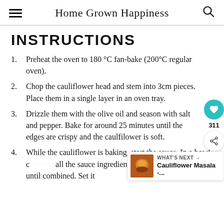Home Grown Happiness
INSTRUCTIONS
Preheat the oven to 180 °C fan-bake (200°C regular oven).
Chop the cauliflower head and stem into 3cm pieces. Place them in a single layer in an oven tray.
Drizzle them with the olive oil and season with salt and pepper. Bake for around 25 minutes until the edges are crispy and the caulfilower is soft.
While the cauliflower is baking, start the sauce. In a bowl, combine all the sauce ingredients and stir it well together until combined. Set it